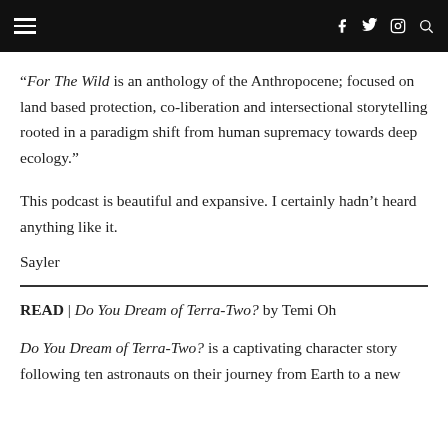navigation bar with hamburger menu and social icons
“For The Wild is an anthology of the Anthropocene; focused on land based protection, co-liberation and intersectional storytelling rooted in a paradigm shift from human supremacy towards deep ecology.”
This podcast is beautiful and expansive. I certainly hadn’t heard anything like it.
Sayler
READ | Do You Dream of Terra-Two? by Temi Oh
Do You Dream of Terra-Two? is a captivating character story following ten astronauts on their journey from Earth to a new